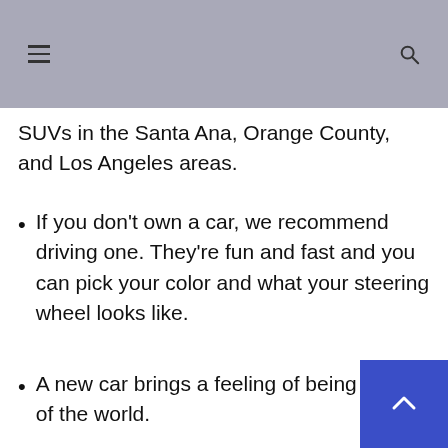SUVs in the Santa Ana, Orange County, and Los Angeles areas.
If you don't own a car, we recommend driving one. They're fun and fast and you can pick your color and what your steering wheel looks like.
A new car brings a feeling of being on top of the world.